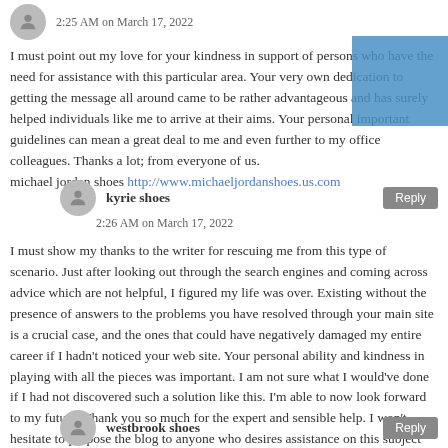2:25 AM on March 17, 2022
I must point out my love for your kindness in support of persons who have the need for assistance with this particular area. Your very own dedication to getting the message all around came to be rather advantageous and has surely helped individuals like me to arrive at their aims. Your personal important guidelines can mean a great deal to me and even further to my office colleagues. Thanks a lot; from everyone of us.
michael jordan shoes http://www.michaeljordanshoes.us.com
kyrie shoes
2:26 AM on March 17, 2022
I must show my thanks to the writer for rescuing me from this type of scenario. Just after looking out through the search engines and coming across advice which are not helpful, I figured my life was over. Existing without the presence of answers to the problems you have resolved through your main site is a crucial case, and the ones that could have negatively damaged my entire career if I hadn't noticed your web site. Your personal ability and kindness in playing with all the pieces was important. I am not sure what I would've done if I had not discovered such a solution like this. I'm able to now look forward to my future. Thank you so much for the expert and sensible help. I won't hesitate to propose the blog to anyone who desires assistance on this subject matter.
kyrie shoes http://www.kyrie4shoes.us
westbrook shoes